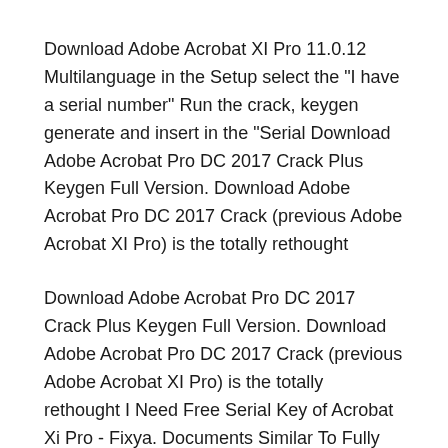Download Adobe Acrobat XI Pro 11.0.12 Multilanguage in the Setup select the "I have a serial number" Run the crack, keygen generate and insert in the "Serial Download Adobe Acrobat Pro DC 2017 Crack Plus Keygen Full Version. Download Adobe Acrobat Pro DC 2017 Crack (previous Adobe Acrobat XI Pro) is the totally rethought
Download Adobe Acrobat Pro DC 2017 Crack Plus Keygen Full Version. Download Adobe Acrobat Pro DC 2017 Crack (previous Adobe Acrobat XI Pro) is the totally rethought I Need Free Serial Key of Acrobat Xi Pro - Fixya. Documents Similar To Fully Activation ADOBE Acrobat X Pro 10(1) Serial Number Adobe. Uploaded by.
Download Adobe Acrobat XI Pro 11.0.12 Multilanguage in the Setup select the "I have a serial number" Run the crack,